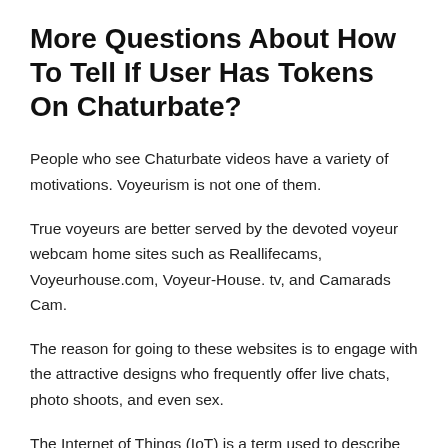More Questions About How To Tell If User Has Tokens On Chaturbate?
People who see Chaturbate videos have a variety of motivations. Voyeurism is not one of them.
True voyeurs are better served by the devoted voyeur webcam home sites such as Reallifecams, Voyeurhouse.com, Voyeur-House. tv, and Camarads Cam.
The reason for going to these websites is to engage with the attractive designs who frequently offer live chats, photo shoots, and even sex.
The Internet of Things (IoT) is a term used to describe the next generation of connected devices such as appliances, automobiles, drones, and physical fitness trackers.